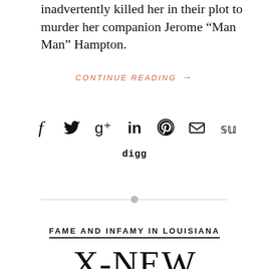inadvertently killed her in their plot to murder her companion Jerome “Man Man” Hampton.
CONTINUE READING →
[Figure (infographic): Social media sharing icons: Facebook, Twitter, Google+, LinkedIn, Pinterest, Email, StumbleUpon, Digg]
FAME AND INFAMY IN LOUISIANA
X-NEW